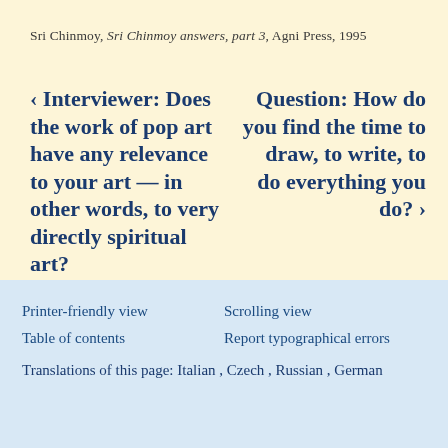Sri Chinmoy, Sri Chinmoy answers, part 3, Agni Press, 1995
‹ Interviewer: Does the work of pop art have any relevance to your art — in other words, to very directly spiritual art?
Question: How do you find the time to draw, to write, to do everything you do? ›
Printer-friendly view
Scrolling view
Table of contents
Report typographical errors
Translations of this page: Italian , Czech , Russian , German